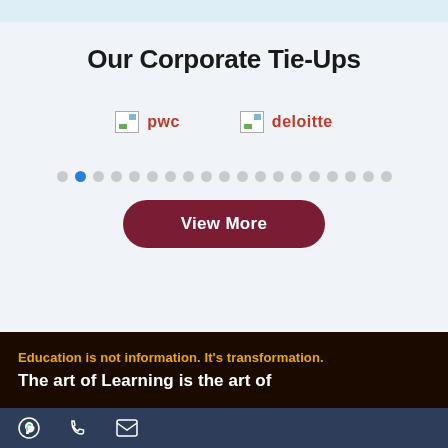Our Corporate Tie-Ups
[Figure (logo): Broken image placeholder with text 'pwc' in red]
[Figure (logo): Broken image placeholder with text 'deloitte' in red]
Education is not information. It's transformation.
The art of Learning is the art of